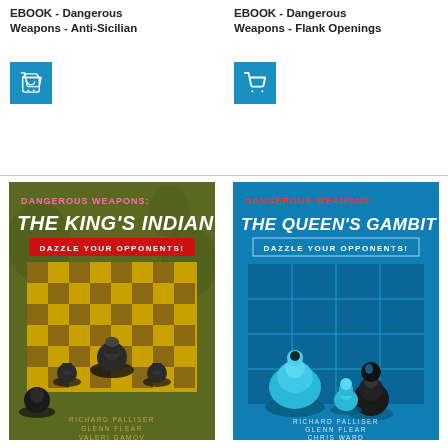EBOOK - Dangerous Weapons - Anti-Sicilian
[Figure (other): Blue shopping cart button for Anti-Sicilian ebook]
EBOOK - Dangerous Weapons - Flank Openings
[Figure (other): Blue shopping cart button for Flank Openings ebook]
[Figure (photo): Book cover: Dangerous Weapons: The King's Indian - Dazzle Your Opponents! by Richard Palliser, Glenn Flear, Valeri Gashnikov. Olive/yellow-green background with chess pieces on checkered board.]
[Figure (photo): Book cover: Dangerous Weapons: The Queen's Gambit - Dazzle Your Opponents! by Richard Palliser, Glenn Flear, Chris Ward. Teal/blue background with shiny chess pieces.]